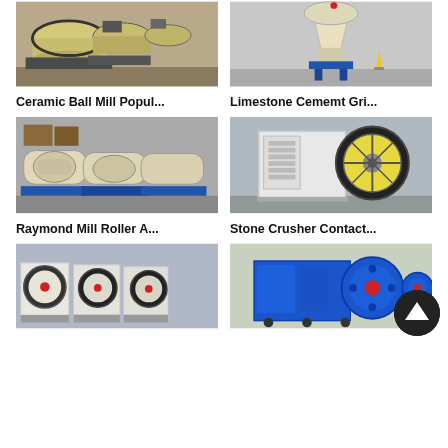[Figure (photo): Ceramic ball mills in a manufacturing facility, large yellow cylindrical rotating drum mills on frames]
[Figure (photo): Limestone cement grinder machine, cream/yellow cone-shaped grinder on blue stand in warehouse]
Ceramic Ball Mill Popul...
Limestone Cememt Gri...
[Figure (photo): Raymond mill rollers lined up in a factory, cream colored large roller mill assemblies on blue pallets]
[Figure (photo): Stone crusher machines in a warehouse, large white/cream jaw crusher with big black and yellow flywheel]
Raymond Mill Roller A...
Stone Crusher Contact...
[Figure (photo): Row of jaw crushers with red and cream flywheels in a factory facility]
[Figure (photo): Blue and cream jaw crusher machine with large blue flywheel, red center, on wheels outdoors]